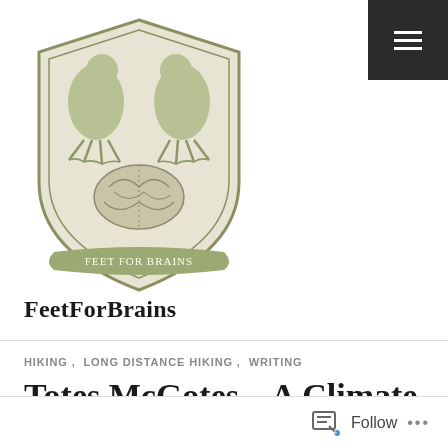[Figure (logo): FeetForBrains shield logo with two birds/feet facing each other above a brain, with a banner reading FEET FOR BRAINS at the bottom, in olive/sage green and cream tones]
FeetForBrains
HIKING ,  LONG DISTANCE HIKING ,  WRITING
Totes McGotes – A Climate Problem
Upon waking I learned that a sixty-five square kilometer chunk of ice at foot of the Thwaits glacier in Antarctica potentially broke away. Yep, that glacier. I then set about making coffee and breakfast for myself and my family.
Follow  •••